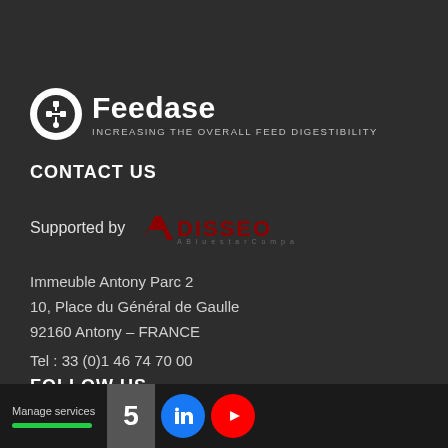[Figure (logo): Feedase logo: white circle with equipment graphic, bold white 'Feedase' text, subtitle 'INCREASING THE OVERALL FEED DIGESTIBILITY']
CONTACT US
[Figure (logo): Supported by Adisseo - A Bluestar Company logo in red and dark red text]
Immeuble Antony Parc 2
10, Place du Général de Gaulle
92160 Antony – FRANCE
Tel : 33 (0)1 46 74 70 00
FOLLOW US
Manage services